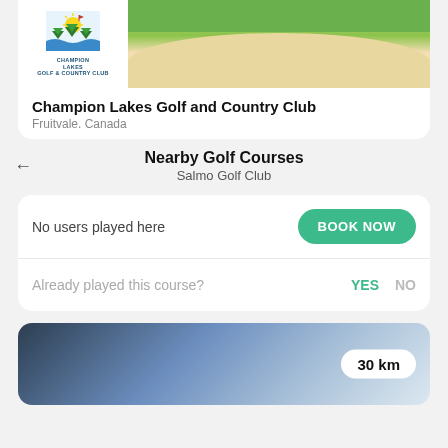[Figure (photo): Golf course photo with Champion Lakes Golf and Country Club logo/white box on left showing stylized sun and trees, and sand trap/green on right]
Champion Lakes Golf and Country Club
Fruitvale. Canada
Nearby Golf Courses
Salmo Golf Club
No users played here
BOOK NOW
Already played this course?
YES
NO
[Figure (photo): Blurred outdoor/sky photo with 30 km distance badge in white pill on right side]